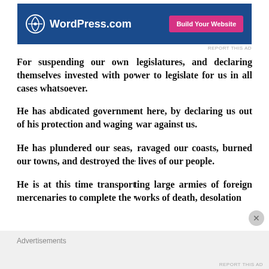[Figure (screenshot): WordPress.com advertisement banner with blue background, WordPress logo on left and pink 'Build Your Website' button on right]
REPORT THIS AD
For suspending our own legislatures, and declaring themselves invested with power to legislate for us in all cases whatsoever.
He has abdicated government here, by declaring us out of his protection and waging war against us.
He has plundered our seas, ravaged our coasts, burned our towns, and destroyed the lives of our people.
He is at this time transporting large armies of foreign mercenaries to complete the works of death, desolation
Advertisements
REPORT THIS AD